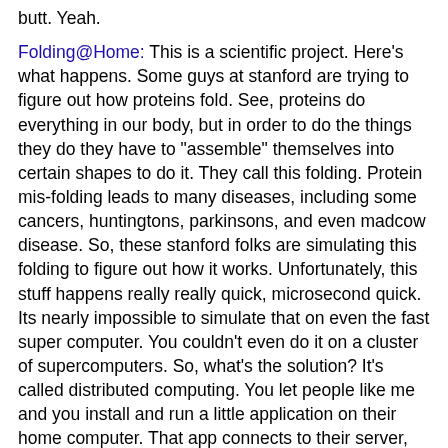butt. Yeah.
Folding@Home: This is a scientific project. Here's what happens. Some guys at stanford are trying to figure out how proteins fold. See, proteins do everything in our body, but in order to do the things they do they have to "assemble" themselves into certain shapes to do it. They call this folding. Protein mis-folding leads to many diseases, including some cancers, huntingtons, parkinsons, and even madcow disease. So, these stanford folks are simulating this folding to figure out how it works. Unfortunately, this stuff happens really really quick, microsecond quick. Its nearly impossible to simulate that on even the fast super computer. You couldn't even do it on a cluster of supercomputers. So, what's the solution? It's called distributed computing. You let people like me and you install and run a little application on their home computer. That app connects to their server, gets a "Work unit" and folds it. This generally takes about a day. once its finished, it sends it back, and you get another one. That alone is kinda slow, but when you get millions and millions of people running their application, you can move mountains of data. I've been running it for a while, and it